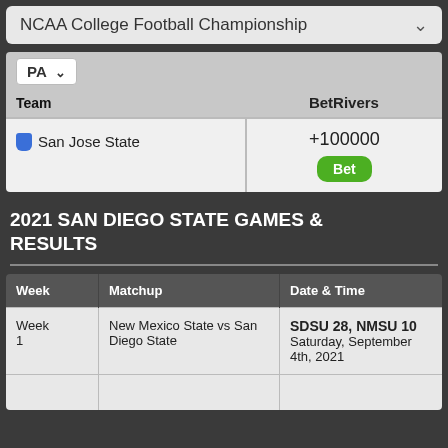NCAA College Football Championship
| PA  ▾
Team | BetRivers |
| --- | --- |
| San Jose State | +100000
Bet |
2021 SAN DIEGO STATE GAMES & RESULTS
| Week | Matchup | Date & Time |
| --- | --- | --- |
| Week 1 | New Mexico State vs San Diego State | SDSU 28, NMSU 10
Saturday, September 4th, 2021 |